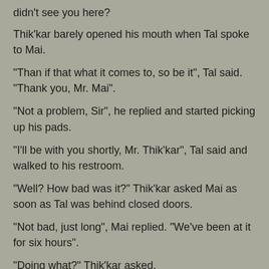didn't see you here?
Thik'kar barely opened his mouth when Tal spoke to Mai.
"Than if that what it comes to, so be it", Tal said. "Thank you, Mr. Mai".
"Not a problem, Sir", he replied and started picking up his pads.
"I'll be with you shortly, Mr. Thik'kar", Tal said and walked to his restroom.
"Well? How bad was it?" Thik'kar asked Mai as soon as Tal was behind closed doors.
"Not bad, just long", Mai replied. "We've been at it for six hours".
"Doing what?" Thik'kar asked.
"Going over known Borg vessels and possible invasion", Mai said.
"Is he alright?" Thik'kar wondered and Mai stopped for a second. Did they really doubt the Captain out in the open?